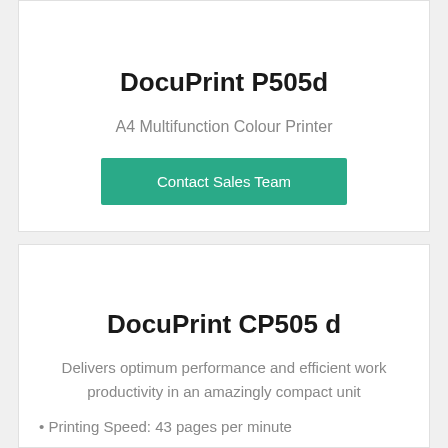DocuPrint P505d
A4 Multifunction Colour Printer
Contact Sales Team
DocuPrint CP505 d
Delivers optimum performance and efficient work productivity in an amazingly compact unit
Printing Speed: 43 pages per minute